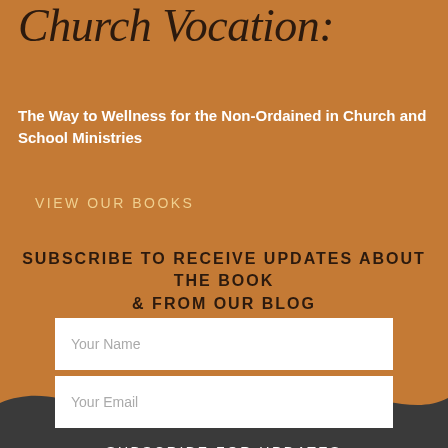Church Vocation:
The Way to Wellness for the Non-Ordained in Church and School Ministries
VIEW OUR BOOKS
SUBSCRIBE TO RECEIVE UPDATES ABOUT THE BOOK & FROM OUR BLOG
Your Name
Your Email
SUBSCRIBE FOR UPDATES